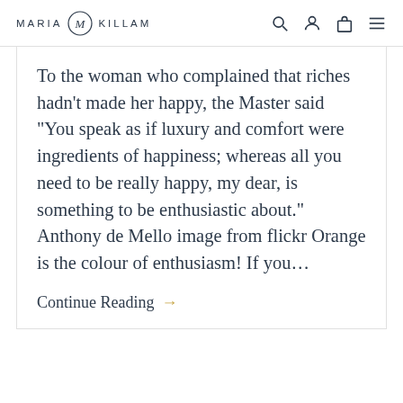MARIA KILLAM
To the woman who complained that riches hadn’t made her happy, the Master said “You speak as if luxury and comfort were ingredients of happiness; whereas all you need to be really happy, my dear, is something to be enthusiastic about.” Anthony de Mello image from flickr Orange is the colour of enthusiasm! If you…
Continue Reading →